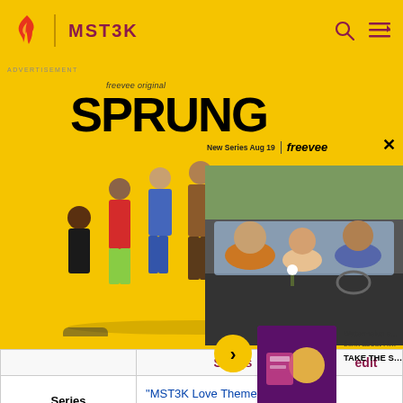MST3K
[Figure (screenshot): Freevee original advertisement for the show SPRUNG. Yellow background with cast photo on left and a photo of people in a car on the right. Text reads 'freevee original SPRUNG New Series Aug 19 | freevee' with a close button X.]
|  | Songs | edit |
| --- | --- | --- |
| Series | "MST3K Love Theme" • "Mighty Science Theater" |  |
| Season K | "O Tannenbot" • "Theme to Fugitive Alien" • "Has-Been Actors" • Joel's military cadence |  |
| Season 1 | "Beverly Hillbillies" • Lar's Flesh Barn" • Song" • "I'm a Hu... |  |